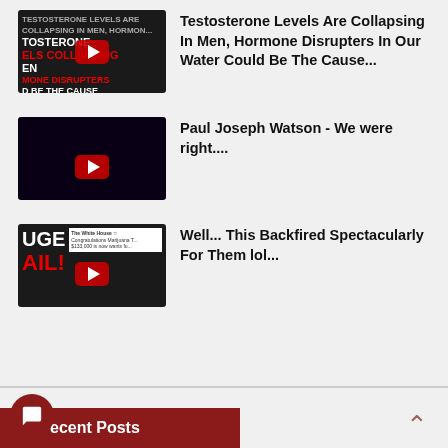[Figure (screenshot): YouTube video thumbnail for 'Testosterone Levels Are Collapsing In Men, Hormone Disrupters In Our Water Could Be The Cause...']
Testosterone Levels Are Collapsing In Men, Hormone Disrupters In Our Water Could Be The Cause...
[Figure (screenshot): YouTube video thumbnail for 'Paul Joseph Watson - We were right....']
Paul Joseph Watson - We were right....
[Figure (screenshot): YouTube video thumbnail for 'Well... This Backfired Spectacularly For Them lol...']
Well... This Backfired Spectacularly For Them lol...
4  Recent Posts